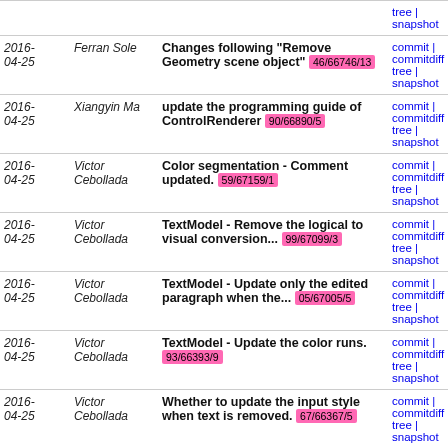| Date | Author | Message | Links |
| --- | --- | --- | --- |
| 2016-04-25 | Ferran Sole | Changes following "Remove Geometry scene object" 46/66746/13 | commit | commitdiff | tree | snapshot |
| 2016-04-25 | Xiangyin Ma | update the programming guide of ControlRenderer 90/66890/5 | commit | commitdiff | tree | snapshot |
| 2016-04-25 | Victor Cebollada | Color segmentation - Comment updated. 59/67159/1 | commit | commitdiff | tree | snapshot |
| 2016-04-25 | Victor Cebollada | TextModel - Remove the logical to visual conversion... 99/67099/3 | commit | commitdiff | tree | snapshot |
| 2016-04-25 | Victor Cebollada | TextModel - Update only the edited paragraph when the... 05/67005/5 | commit | commitdiff | tree | snapshot |
| 2016-04-25 | Victor Cebollada | TextModel - Update the color runs. 93/66393/9 | commit | commitdiff | tree | snapshot |
| 2016-04-25 | Victor Cebollada | Whether to update the input style when text is removed. 67/66367/5 | commit | commitdiff | tree | snapshot |
| 2016-04-25 | Victor Cebollada | Refactor the Text::Controller::ClearFontData. 45/66945/3 | commit | commitdiff | tree | snapshot |
| 2016-04-22 | Xiangyin Ma | Select the renderer type based on the image url 30/66830/3 | commit | commitdiff | tree | snapshot |
| 2016-04-22 | Agnelo Vaz | Deprecating Button API in favour of using Properties... 79/66979/5 | commit | commitdiff | tree | snapshot |